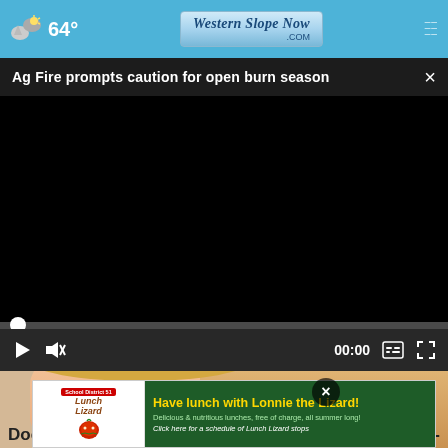64° Western Slope Now .com
Ag Fire prompts caution for open burn season
[Figure (screenshot): Black video player frame with media controls showing 00:00 timestamp, play button, mute button, captions and fullscreen icons]
[Figure (photo): Partial view of a person's face (blonde hair, glasses visible) as thumbnail below video player]
Doc
[Figure (infographic): Advertisement for School District 51 Lunch Lizard program: 'Have lunch with Lonnie the Lizard! Delicious & nutritious lunches, free of charge, all summer long! Click here for a schedule of Lunch Lizard stops']